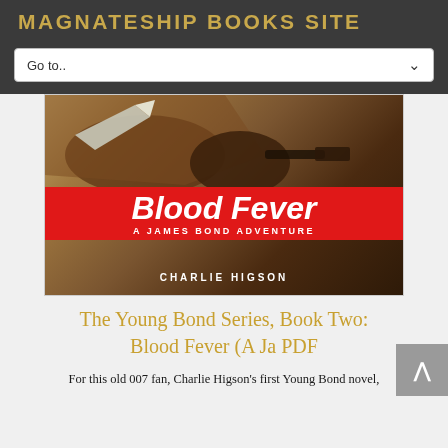MAGNATESHIP BOOKS SITE
Go to..
[Figure (photo): Book cover of 'Blood Fever: A James Bond Adventure' by Charlie Higson. Red banner with italic white text 'Blood Fever', subtitle 'A James Bond Adventure', author name 'Charlie Higson'. Background shows a hand holding a knife.]
The Young Bond Series, Book Two: Blood Fever (A Ja PDF
For this old 007 fan, Charlie Higson's first Young Bond novel,